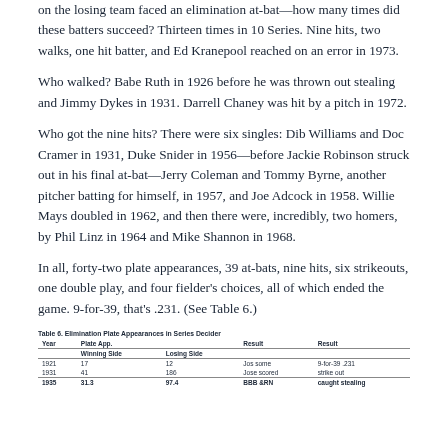on the losing team faced an elimination at-bat—how many times did these batters succeed? Thirteen times in 10 Series. Nine hits, two walks, one hit batter, and Ed Kranepool reached on an error in 1973.
Who walked? Babe Ruth in 1926 before he was thrown out stealing and Jimmy Dykes in 1931. Darrell Chaney was hit by a pitch in 1972.
Who got the nine hits? There were six singles: Dib Williams and Doc Cramer in 1931, Duke Snider in 1956—before Jackie Robinson struck out in his final at-bat—Jerry Coleman and Tommy Byrne, another pitcher batting for himself, in 1957, and Joe Adcock in 1958. Willie Mays doubled in 1962, and then there were, incredibly, two homers, by Phil Linz in 1964 and Mike Shannon in 1968.
In all, forty-two plate appearances, 39 at-bats, nine hits, six strikeouts, one double play, and four fielder's choices, all of which ended the game. 9-for-39, that's .231. (See Table 6.)
| Year | Winning Side | Losing Side | Result | Result |
| --- | --- | --- | --- | --- |
| 1921 | 17 | 12 | ... | 9-for-39 .231 |
| 1931 | 41 | 186 | Jose some | strike out |
| 1935 | 31.3 | 97.4 | BBB &RN | caught stealing |